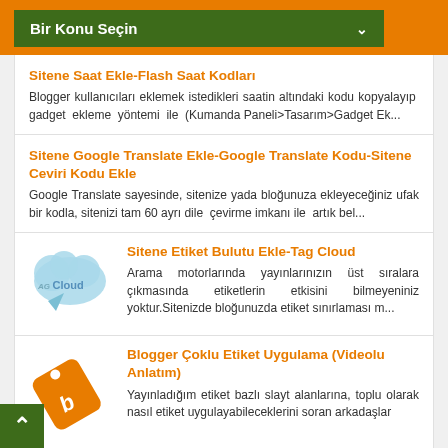Bir Konu Seçin
Sitene Saat Ekle-Flash Saat Kodları
Blogger kullanıcıları eklemek istedikleri saatin altındaki kodu kopyalayıp gadget ekleme yöntemi ile (Kumanda Paneli>Tasarım>Gadget Ek...
Sitene Google Translate Ekle-Google Translate Kodu-Sitene Ceviri Kodu Ekle
Google Translate sayesinde, sitenize yada bloğunuza ekleyeceğiniz ufak bir kodla, sitenizi tam 60 ayrı dile çevirme imkanı ile artık bel...
[Figure (illustration): AG Cloud logo - blue cloud shape with 'agCloud' text]
Sitene Etiket Bulutu Ekle-Tag Cloud
Arama motorlarında yayınlarınızın üst sıralara çıkmasında etiketlerin etkisini bilmeyeniniz yoktur.Sitenizde bloğunuzda etiket sınırlaması m...
[Figure (illustration): Orange price tag/label with blogger 'b' logo]
Blogger Çoklu Etiket Uygulama (Videolu Anlatım)
Yayınladığım etiket bazlı slayt alanlarına, toplu olarak nasıl etiket uygulayabileceklerini soran arkadaşlar